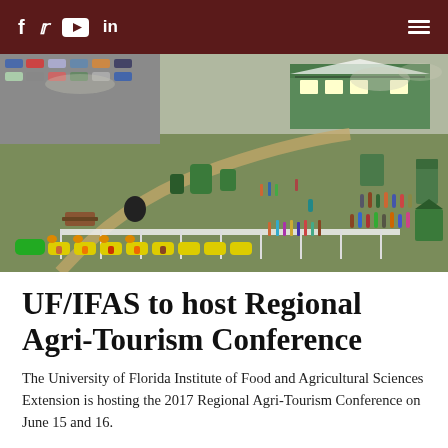f  🐦  ▶  in  ≡
[Figure (photo): Aerial view of an agri-tourism farm event with a yellow train ride, green equipment, farm buildings, parking lot, and crowds of visitors on a grassy field.]
UF/IFAS to host Regional Agri-Tourism Conference
The University of Florida Institute of Food and Agricultural Sciences Extension is hosting the 2017 Regional Agri-Tourism Conference on June 15 and 16. Every agri-tourism operator and others will...